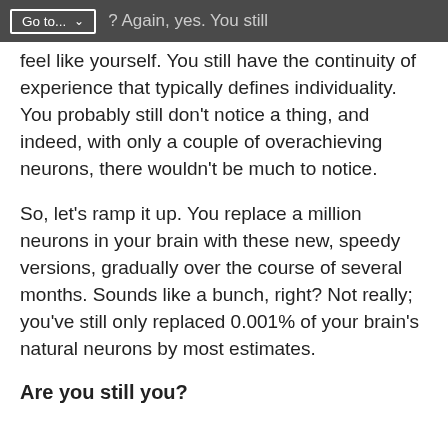Are you still you? Again, yes. You still feel like yourself. You still have the — Go to... [dropdown]
Are you still you? Again, yes. You still feel like yourself. You still have the continuity of experience that typically defines individuality. You probably still don't notice a thing, and indeed, with only a couple of overachieving neurons, there wouldn't be much to notice.
So, let's ramp it up. You replace a million neurons in your brain with these new, speedy versions, gradually over the course of several months. Sounds like a bunch, right? Not really; you've still only replaced 0.001% of your brain's natural neurons by most estimates.
Are you still you?